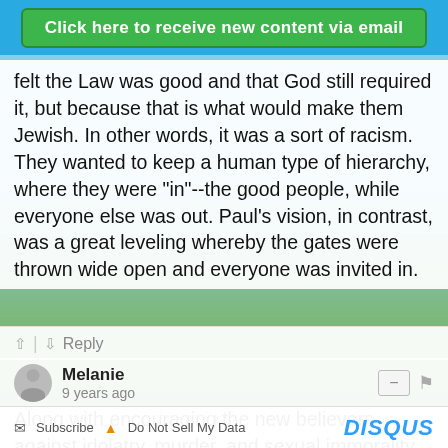[Figure (screenshot): Top blue banner with green button reading 'Click here to receive new content via email']
felt the Law was good and that God still required it, but because that is what would make them Jewish. In other words, it was a sort of racism. They wanted to keep a human type of hierarchy, where they were "in"--the good people, while everyone else was out. Paul's vision, in contrast, was a great leveling whereby the gates were thrown wide open and everyone was invited in.
^ | v  Reply
Melanie
9 years ago
Along with encouraging the new believers against idolatry, murder, and sexual immorality, didn't the early church encourage them to give to the needy? Another cultural sign and way to love others. Great points made, D.L.
^ | v  Reply
Subscribe  Do Not Sell My Data   DISQUS